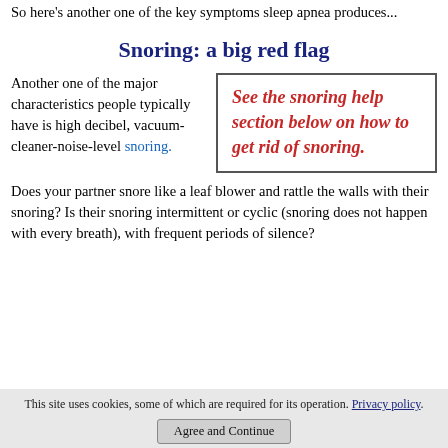So here's another one of the key symptoms sleep apnea produces...
Snoring: a big red flag
Another one of the major characteristics people typically have is high decibel, vacuum-cleaner-noise-level snoring.
See the snoring help section below on how to get rid of snoring.
Does your partner snore like a leaf blower and rattle the walls with their snoring? Is their snoring intermittent or cyclic (snoring does not happen with every breath), with frequent periods of silence?
This site uses cookies, some of which are required for its operation. Privacy policy
Agree and Continue